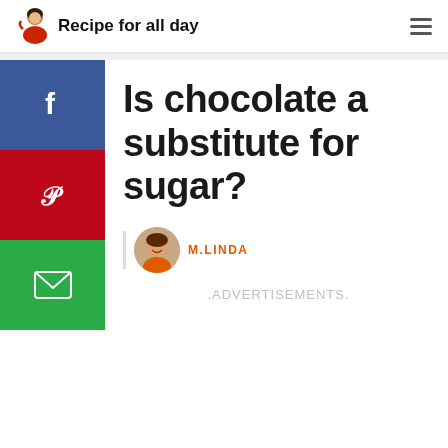Recipe for all day
Is chocolate a substitute for sugar?
M.LINDA
.ADVERTISEMENTS.